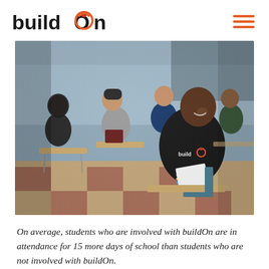buildOn
[Figure (photo): Students sitting at school desks in a classroom, several wearing buildOn branded hoodies. A smiling student in the foreground holds papers and looks at the camera. Other students are reading and engaged in the background.]
On average, students who are involved with buildOn are in attendance for 15 more days of school than students who are not involved with buildOn.